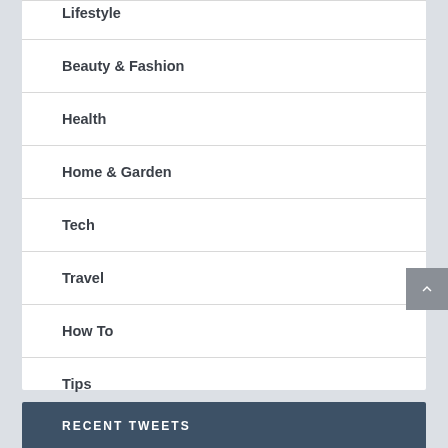Lifestyle
Beauty & Fashion
Health
Home & Garden
Tech
Travel
How To
Tips
RECENT TWEETS